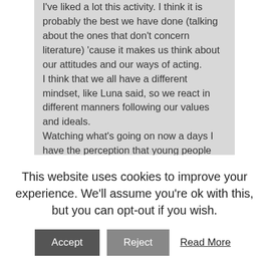I've liked a lot this activity. I think it is probably the best we have done (talking about the ones that don't concern literature) 'cause it makes us think about our attitudes and our ways of acting. I think that we all have a different mindset, like Luna said, so we react in different manners following our values and ideals. Watching what's going on now a days I have the perception that young people would like to have all they want without any effort. That's bad because we need to fight to realize our dreams. I've started my swim career when I was little and when I was 8 I've started participating in competitions so I grew up with a sport mentality which makes me think always to do my best and support my team mates (I do it during every race, I'm the screamer of the team 🙂 ). But sometimes
This website uses cookies to improve your experience. We'll assume you're ok with this, but you can opt-out if you wish.